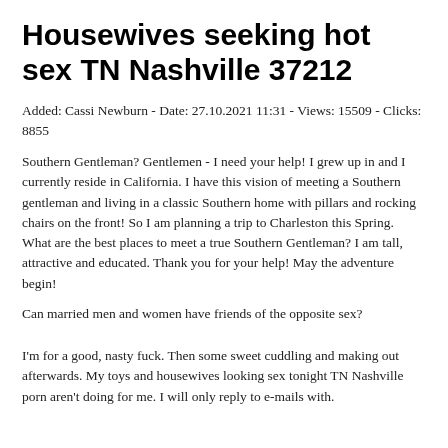Housewives seeking hot sex TN Nashville 37212
Added: Cassi Newburn - Date: 27.10.2021 11:31 - Views: 15509 - Clicks: 8855
Southern Gentleman? Gentlemen - I need your help! I grew up in and I currently reside in California. I have this vision of meeting a Southern gentleman and living in a classic Southern home with pillars and rocking chairs on the front! So I am planning a trip to Charleston this Spring. What are the best places to meet a true Southern Gentleman? I am tall, attractive and educated. Thank you for your help! May the adventure begin!
Can married men and women have friends of the opposite sex?
I'm for a good, nasty fuck. Then some sweet cuddling and making out afterwards. My toys and housewives looking sex tonight TN Nashville porn aren't doing for me. I will only reply to e-mails with.